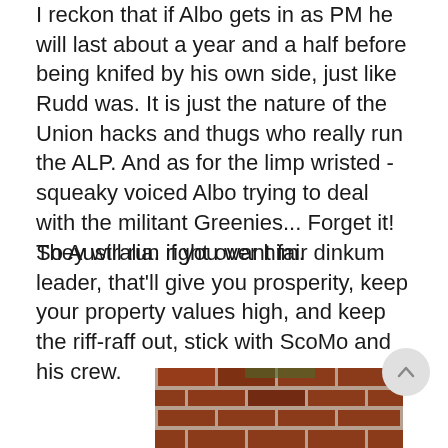I reckon that if Albo gets in as PM he will last about a year and a half before being knifed by his own side, just like Rudd was. It is just the nature of the Union hacks and thugs who really run the ALP. And as for the limp wristed - squeaky voiced Albo trying to deal with the militant Greenies... Forget it! They will run right over him.
So Australia. if you want fair dinkum leader, that'll give you prosperity, keep your property values high, and keep the riff-raff out, stick with ScoMo and his crew.
[Figure (photo): Partial image of a brick wall visible at the bottom of the page]